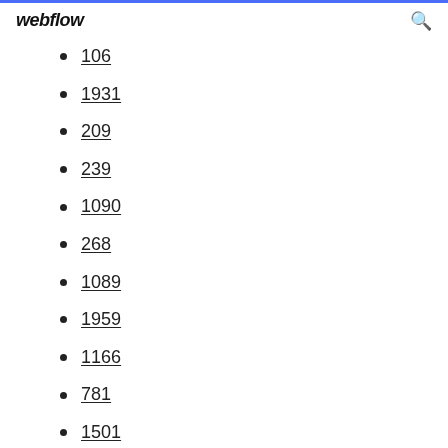webflow
106
1931
209
239
1090
268
1089
1959
1166
781
1501
1816
661